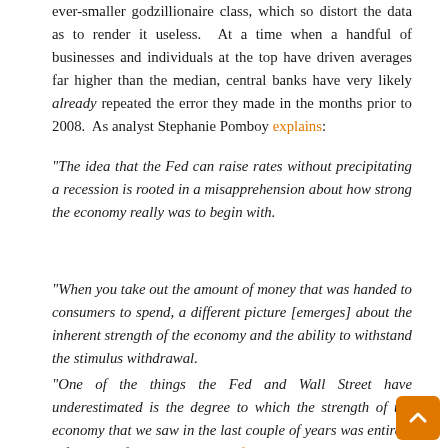ever-smaller godzillionaire class, which so distort the data as to render it useless. At a time when a handful of businesses and individuals at the top have driven averages far higher than the median, central banks have very likely already repeated the error they made in the months prior to 2008. As analyst Stephanie Pomboy explains:
“The idea that the Fed can raise rates without precipitating a recession is rooted in a misapprehension about how strong the economy really was to begin with.
“When you take out the amount of money that was handed to consumers to spend, a different picture [emerges] about the inherent strength of the economy and the ability to withstand the stimulus withdrawal.
“One of the things the Fed and Wall Street have underestimated is the degree to which the strength of the economy that we saw in the last couple of years was entirely a function of the monetary and fiscal stimulus, which totaled roughly $10 trillion. We put $10 trillion into the economy, but GDP grew only $2.3 trillion. With inflation, you